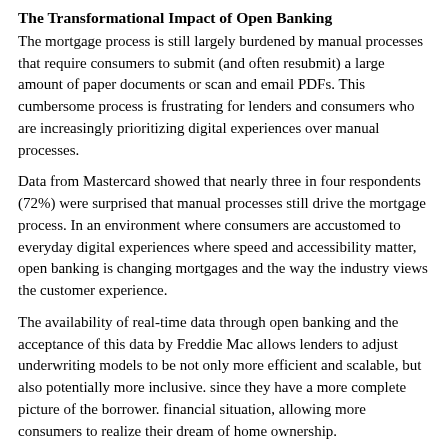The Transformational Impact of Open Banking
The mortgage process is still largely burdened by manual processes that require consumers to submit (and often resubmit) a large amount of paper documents or scan and email PDFs. This cumbersome process is frustrating for lenders and consumers who are increasingly prioritizing digital experiences over manual processes.
Data from Mastercard showed that nearly three in four respondents (72%) were surprised that manual processes still drive the mortgage process. In an environment where consumers are accustomed to everyday digital experiences where speed and accessibility matter, open banking is changing mortgages and the way the industry views the customer experience.
The availability of real-time data through open banking and the acceptance of this data by Freddie Mac allows lenders to adjust underwriting models to be not only more efficient and scalable, but also potentially more inclusive. since they have a more complete picture of the borrower. financial situation, allowing more consumers to realize their dream of home ownership.
A digital mindset
Consumers are increasingly relying on fintech to gain insights and streamline their experiences. Additionally, consumers understand the potential of their own financial data and are comfortable using